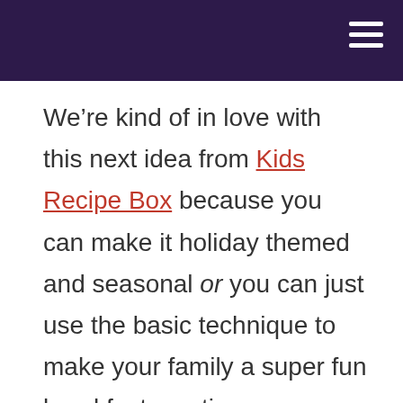We’re kind of in love with this next idea from Kids Recipe Box because you can make it holiday themed and seasonal or you can just use the basic technique to make your family a super fun breakfast any time you please! Take a better look at their recipe and tutorial to see how these wonderfully cheerful looking pastel coloured pancakes were made in a surprisingly simple way.